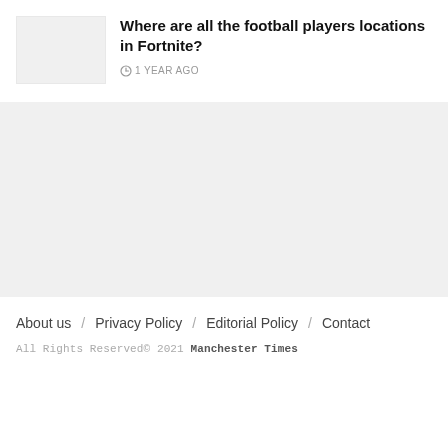[Figure (photo): Thumbnail image placeholder for article about football players in Fortnite]
Where are all the football players locations in Fortnite?
1 YEAR AGO
[Figure (other): Gray advertisement or content placeholder band]
About us / Privacy Policy / Editorial Policy / Contact
All Rights Reserved© 2021 Manchester Times